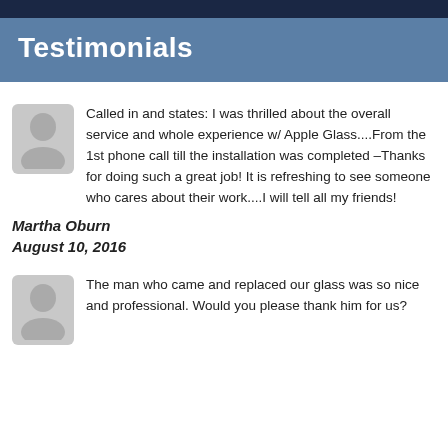Testimonials
Called in and states: I was thrilled about the overall service and whole experience w/ Apple Glass....From the 1st phone call till the installation was completed –Thanks for doing such a great job! It is refreshing to see someone who cares about their work....I will tell all my friends!
Martha Oburn
August 10, 2016
The man who came and replaced our glass was so nice and professional. Would you please thank him for us?